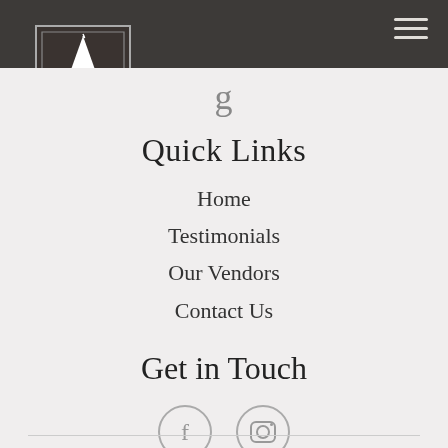[Figure (logo): The Party Elf logo: a shield shape with dark brown background, featuring an elf hat, cloche serving dish, and elf legs, with text 'the party elf']
Quick Links
Home
Testimonials
Our Vendors
Contact Us
Get in Touch
[Figure (other): Social media icons: Facebook (f) and Instagram (camera) in circular outline style]